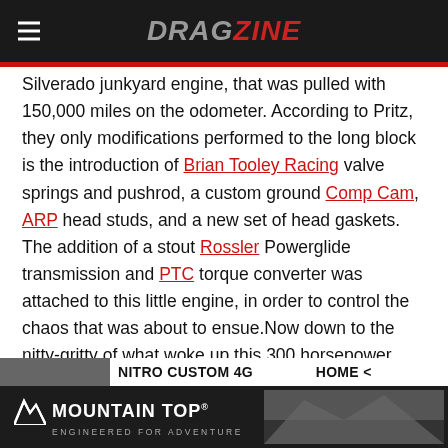DRAGZINE
Silverado junkyard engine, that was pulled with 150,000 miles on the odometer. According to Pritz, they only modifications performed to the long block is the introduction of Brian Tooley Racing valve springs and pushrod, a custom ground Comp Cam, ARP head studs, and a new set of head gaskets. The addition of a stout Rossler Powerglide transmission and PTC torque converter was attached to this little engine, in order to control the chaos that was about to ensue.Now down to the nitty-gritty of what woke up this 300 horsepower factory-rated L20 and became its driving force.
[Figure (screenshot): Partial thumbnail strip showing article navigation at the bottom of the page]
[Figure (other): Mountain Top advertisement banner - ENGINEERED FOR ADVENTURE]